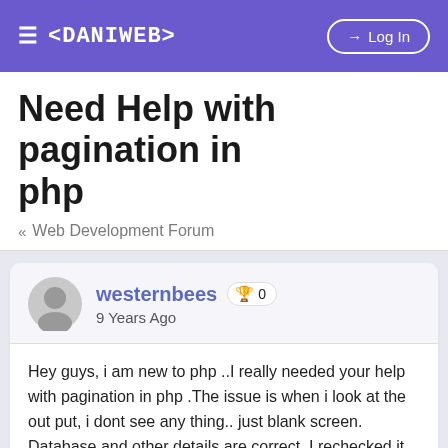≡ <DANIWEB>  → Log In
Need Help with pagination in php
« Web Development Forum
westernbees 🏆 0
9 Years Ago
Hey guys, i am new to php ..I really needed your help with pagination in php .The issue is when i look at the out put, i dont see any thing.. just blank screen. Database and other details are correct. I rechecked it
Here is my code :
<?php